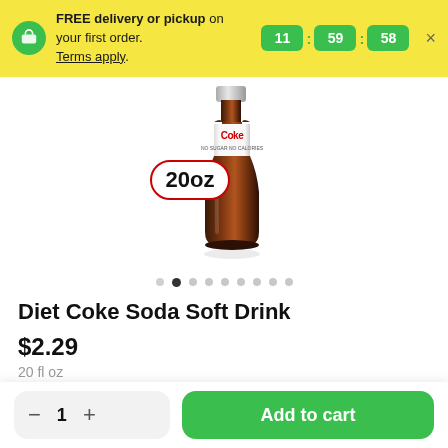FREE delivery or pickup on your first order. Terms apply. 11 : 59 : 58
[Figure (photo): Diet Coke 20oz bottle product image with '20oz' badge overlaid]
Diet Coke Soda Soft Drink
$2.29
20 fl oz
— 1 +  Add to cart